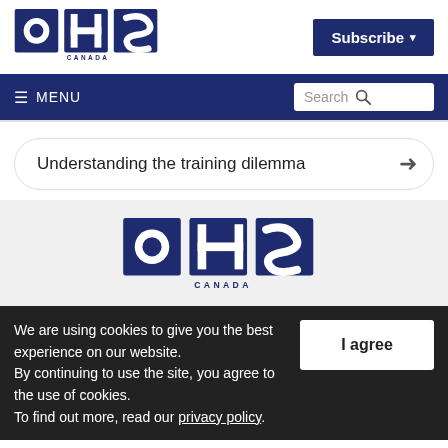[Figure (logo): OHS Canada logo in dark navy blue, top left of page header]
Subscribe ▾
≡ MENU
Search
Understanding the training dilemma →
[Figure (logo): OHS Canada logo in dark navy blue, centered in gray content area]
We are using cookies to give you the best experience on our website.
By continuing to use the site, you agree to the use of cookies.
To find out more, read our privacy policy.
I agree